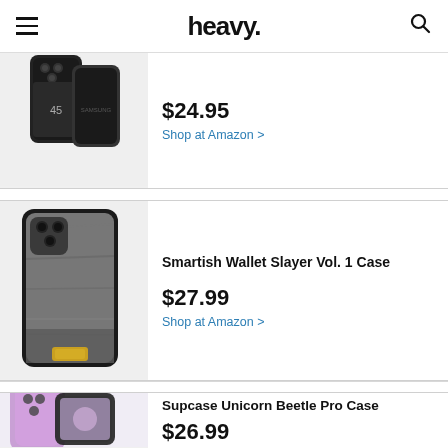heavy.
[Figure (photo): Black Samsung Galaxy S22 LED View Cover case shown front and back]
$24.95
Shop at Amazon >
Smartish Wallet Slayer Vol. 1 Case
[Figure (photo): Smartish Wallet Slayer Vol. 1 Case for Samsung Galaxy S22 in gray wood grain pattern with card holder]
$27.99
Shop at Amazon >
Supcase Unicorn Beetle Pro Case
[Figure (photo): Supcase Unicorn Beetle Pro Case for Samsung Galaxy S22 in pink/purple]
$26.99